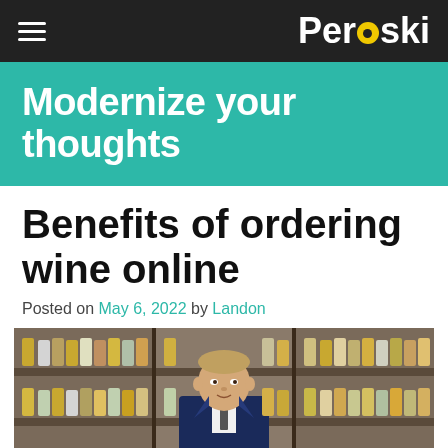Perdoski
Modernize your thoughts
Benefits of ordering wine online
Posted on May 6, 2022 by Landon
[Figure (photo): A man in a navy suit and striped tie standing in front of shelves stocked with many bottles of wine/whisky in a liquor store or cellar.]